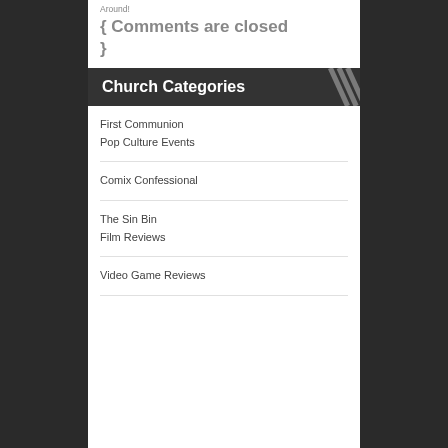Around!
{ Comments are closed }
Church Categories
First Communion
Pop Culture Events
Comix Confessional
The Sin Bin
Film Reviews
Video Game Reviews